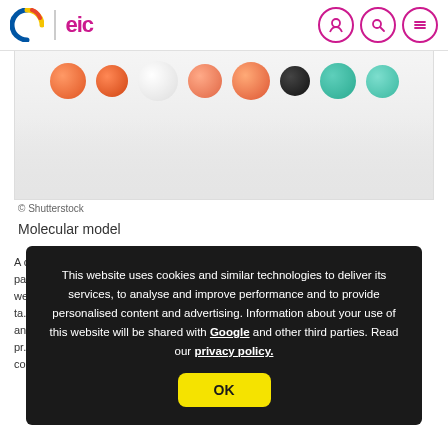eic
[Figure (photo): Molecular model balls of various colors (orange, white, teal, grey) on a light grey background. Partial view cropped at top.]
© Shutterstock
Molecular model
A ... ed pa... s we... ta... r an... pr... co... e
This website uses cookies and similar technologies to deliver its services, to analyse and improve performance and to provide personalised content and advertising. Information about your use of this website will be shared with Google and other third parties. Read our privacy policy.
OK